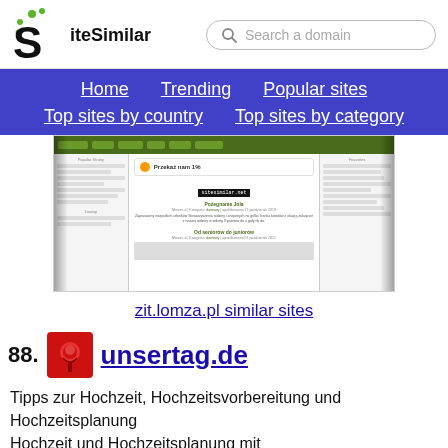[Figure (logo): SiteSimilar logo with S letter and green dots, plus search bar]
Home  Trending  Popular sites  Top sites by country  Top sites by category
[Figure (screenshot): Screenshot of zit.lomza.pl website showing Przekaz nam 1% banner and article content]
zit.lomza.pl similar sites
88. unsertag.de
Tipps zur Hochzeit, Hochzeitsvorbereitung und Hochzeitsplanung
Hochzeit und Hochzeitsplanung mit
www.UnserTag.de - Info zu Trauung, Ehe,